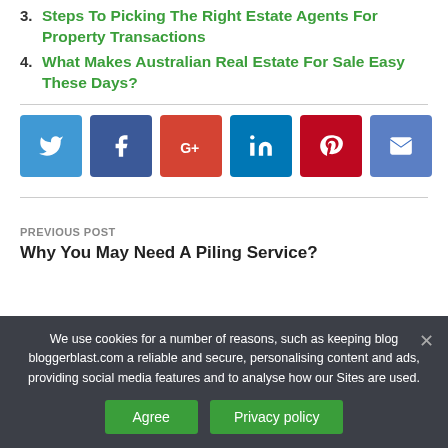3. Steps To Picking The Right Estate Agents For Property Transactions
4. What Makes Australian Real Estate For Sale Easy These Days?
[Figure (other): Social media share buttons: Twitter, Facebook, Google+, LinkedIn, Pinterest, Email]
PREVIOUS POST
Why You May Need A Piling Service?
We use cookies for a number of reasons, such as keeping blog bloggerblast.com a reliable and secure, personalising content and ads, providing social media features and to analyse how our Sites are used.